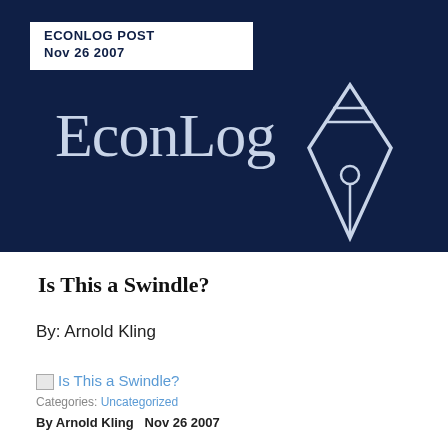ECONLOG POST
Nov 26 2007
[Figure (logo): EconLog logo with pen/quill icon on dark navy background]
Is This a Swindle?
By: Arnold Kling
Is This a Swindle?
Categories: Uncategorized
By Arnold Kling  Nov 26 2007